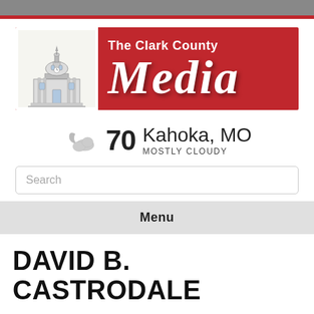[Figure (logo): The Clark County Media newspaper logo banner with red background and courthouse illustration]
70  Kahoka, MO  MOSTLY CLOUDY
Search
Menu
DAVID B. CASTRODALE